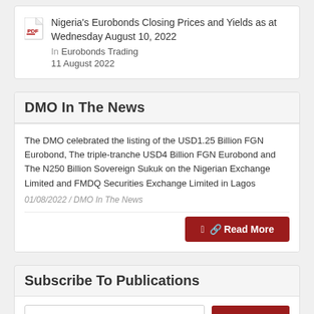Nigeria's Eurobonds Closing Prices and Yields as at Wednesday August 10, 2022 — In Eurobonds Trading — 11 August 2022
DMO In The News
The DMO celebrated the listing of the USD1.25 Billion FGN Eurobond, The triple-tranche USD4 Billion FGN Eurobond and The N250 Billion Sovereign Sukuk on the Nigerian Exchange Limited and FMDQ Securities Exchange Limited in Lagos
01/08/2022 / DMO In The News
Subscribe To Publications